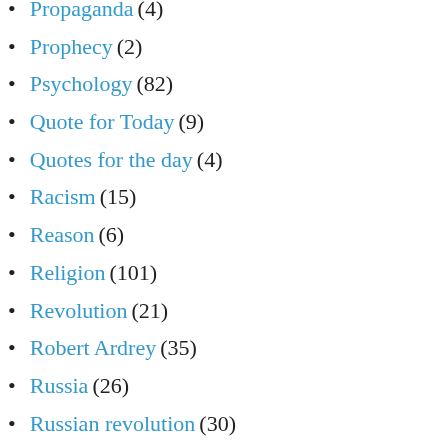Propaganda (4)
Prophecy (2)
Psychology (82)
Quote for Today (9)
Quotes for the day (4)
Racism (15)
Reason (6)
Religion (101)
Revolution (21)
Robert Ardrey (35)
Russia (26)
Russian revolution (30)
Science (45)
Secular humanism (2)
Secular Religions (39)
Sexism (1)